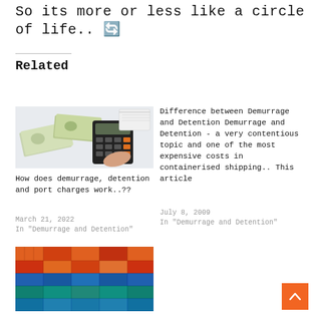So its more or less like a circle of life.. 🔄
Related
[Figure (photo): Hand using a calculator next to US dollar bills and a notepad on a white surface]
How does demurrage, detention and port charges work..??
March 21, 2022
In "Demurrage and Detention"
Difference between Demurrage and Detention Demurrage and Detention - a very contentious topic and one of the most expensive costs in containerised shipping.. This article
July 8, 2009
In "Demurrage and Detention"
[Figure (photo): Stacked colorful shipping containers in orange, red, green, blue and teal]